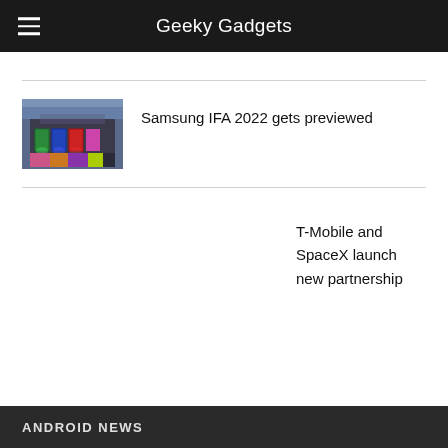Geeky Gadgets
Samsung IFA 2022 gets previewed
T-Mobile and SpaceX launch new partnership
ANDROID NEWS